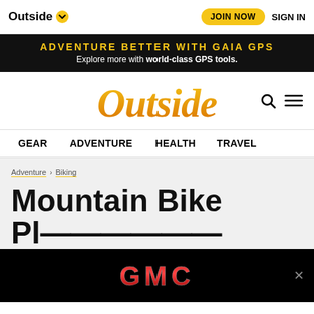Outside  JOIN NOW  SIGN IN
ADVENTURE BETTER WITH GAIA GPS
Explore more with world-class GPS tools.
[Figure (logo): Outside magazine logo in italic serif font with yellow-to-orange gradient]
GEAR   ADVENTURE   HEALTH   TRAVEL
Adventure > Biking
Mountain Bike Pl...
[Figure (logo): GMC logo in red metallic letters on black background advertisement banner]